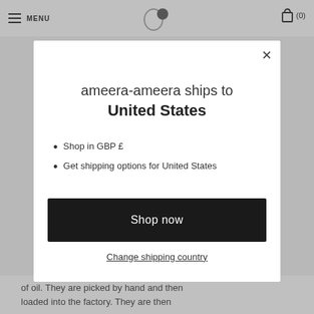MENU
ameera-ameera ships to United States
Shop in GBP £
Get shipping options for United States
Shop now
Change shipping country
of oil. They are picked by hand and then loaded into the factory. They are then